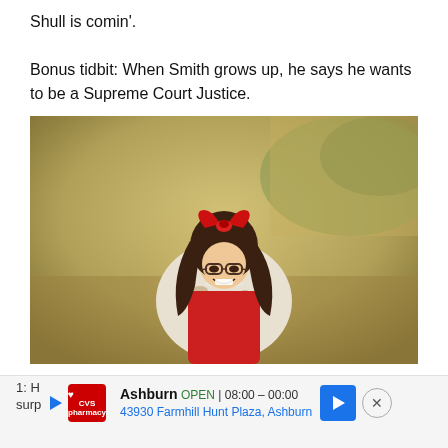Shull is comin'.
Bonus tidbit: When Smith grows up, he says he wants to be a Supreme Court Justice.
[Figure (photo): A young girl with long dark hair wearing glasses, a large red bow headband, a red dress, and a white and brown fur vest, smiling outdoors in a natural setting with blurred foliage background.]
1: H
surp
Ashburn OPEN | 08:00 – 00:00
43930 Farmville Hunt Plaza, Ashburn